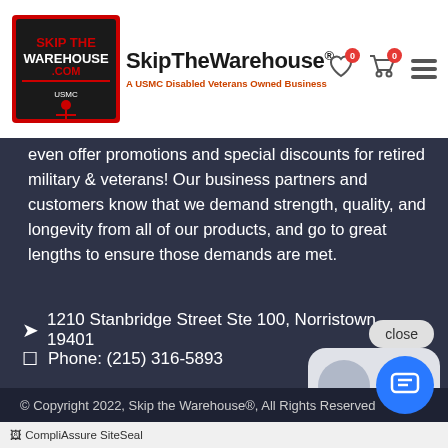SkipTheWarehouse® — A USMC Disabled Veterans Owned Business
even offer promotions and special discounts for retired military & veterans! Our business partners and customers know that we demand strength, quality, and longevity from all of our products, and go to great lengths to ensure those demands are met.
1210 Stanbridge Street Ste 100, Norristown 19401
Phone: (215) 316-5893
[Figure (other): Payment method icons: VISA, MasterCard, PayPal, and others]
[Figure (other): Chat popup bubble with avatar saying: Hi there, have a question? Text us here. With a close button.]
© Copyright 2022, Skip the Warehouse®, All Rights Reserved
CompliAssure SiteSeal